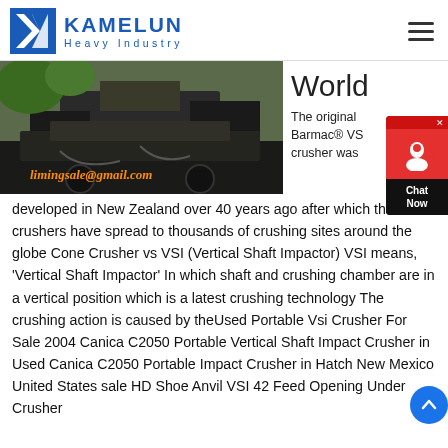KAMELUN Heavy Industry
[Figure (photo): Industrial VSI crusher machine on a truck/trailer at a site, with orange overlay text limingsale@gmail.com]
World
The original Barmac® VSI crusher was developed in New Zealand over 40 years ago after which the VSI crushers have spread to thousands of crushing sites around the globe Cone Crusher vs VSI (Vertical Shaft Impactor) VSI means, 'Vertical Shaft Impactor' In which shaft and crushing chamber are in a vertical position which is a latest crushing technology The crushing action is caused by theUsed Portable Vsi Crusher For Sale 2004 Canica C2050 Portable Vertical Shaft Impact Crusher in Used Canica C2050 Portable Impact Crusher in Hatch New Mexico United States sale HD Shoe Anvil VSI 42 Feed Opening Under Crusher